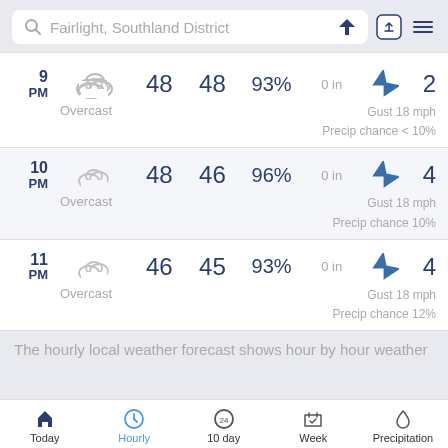Fairlight, Southland District
| Time | Condition | Temp | Dew | Humidity | Precip | Wind Dir | Wind Speed | Gust | Precip Chance |
| --- | --- | --- | --- | --- | --- | --- | --- | --- | --- |
| 9 PM | Overcast | 48 | 48 | 93% | 0 in | ↙ | 2 | Gust 18 mph | Precip chance < 10% |
| 10 PM | Overcast | 48 | 46 | 96% | 0 in | ↙ | 4 | Gust 18 mph | Precip chance 10% |
| 11 PM | Overcast | 46 | 45 | 93% | 0 in | ↙ | 4 | Gust 18 mph | Precip chance 12% |
The hourly local weather forecast shows hour by hour weather
Today | Hourly | 10 day | Week | Precipitation